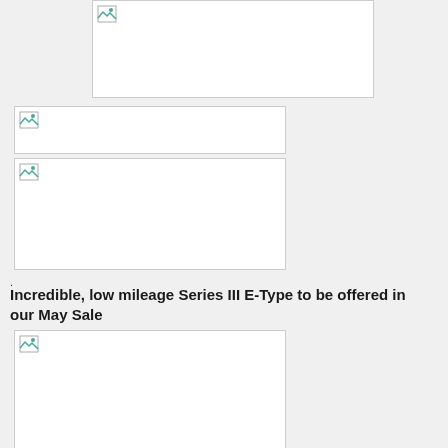[Figure (photo): Broken image placeholder - top centered large]
[Figure (photo): Broken image placeholder - left narrow tall]
[Figure (photo): Broken image placeholder - left medium]
.
Incredible, low mileage Series III E-Type to be offered in our May Sale
[Figure (photo): Broken image placeholder - bottom left]